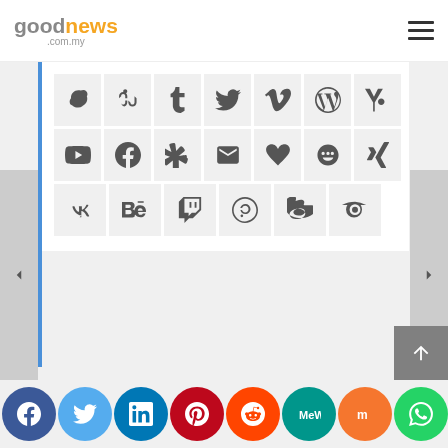goodnews .com.my
[Figure (screenshot): Grid of social media and app icon buttons: Skype, StumbleUpon, Tumblr, Twitter, Vimeo, WordPress, Yahoo; YouTube, GitHub/Speakerdeck, Yelp, Email, Slideshare, Deviantart, XING; VK, Behance, Twitch, 500px, Weibo, TripAdvisor]
[Figure (infographic): Social media share buttons bar at bottom: Facebook, Twitter, LinkedIn, Pinterest, Reddit, MeWe, Mix, WhatsApp, Email, Share]